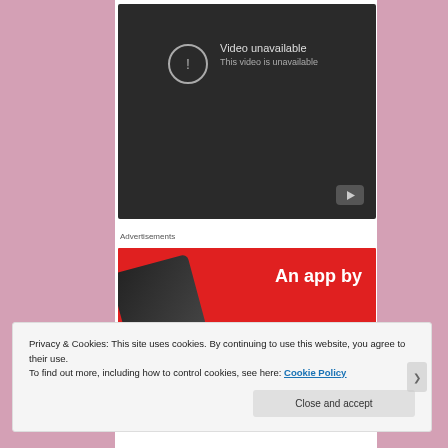[Figure (screenshot): YouTube embedded video player showing 'Video unavailable' error. Dark background with a circle exclamation icon, text 'Video unavailable' and 'This video is unavailable', and a YouTube play button icon in the bottom right corner.]
Advertisements
[Figure (screenshot): Red advertisement banner with white bold text 'An app by' and a dark smartphone image on the left side.]
Privacy & Cookies: This site uses cookies. By continuing to use this website, you agree to their use.
To find out more, including how to control cookies, see here: Cookie Policy
Close and accept